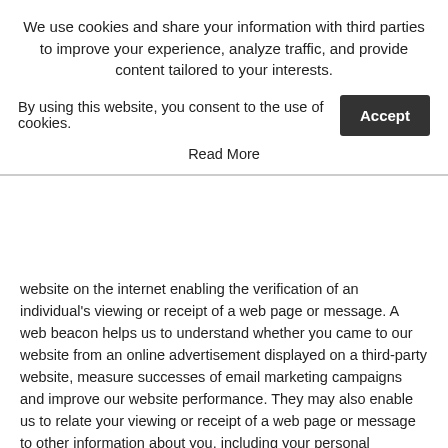We use cookies and share your information with third parties to improve your experience, analyze traffic, and provide content tailored to your interests.
By using this website, you consent to the use of cookies.
Accept
Read More
website on the internet enabling the verification of an individual's viewing or receipt of a web page or message. A web beacon helps us to understand whether you came to our website from an online advertisement displayed on a third-party website, measure successes of email marketing campaigns and improve our website performance. They may also enable us to relate your viewing or receipt of a web page or message to other information about you, including your personal information. In many instances, web beacons rely on cookies to function properly, and so declining cookies will impair their functioning.
We place and access Cookies on your Computer; these Cookies are known as “first-party Cookies.” Cookies may also be placed and accessed by some of our third-party vendors, which are known as “third-party Cookies” and are described below. Some Cookies are